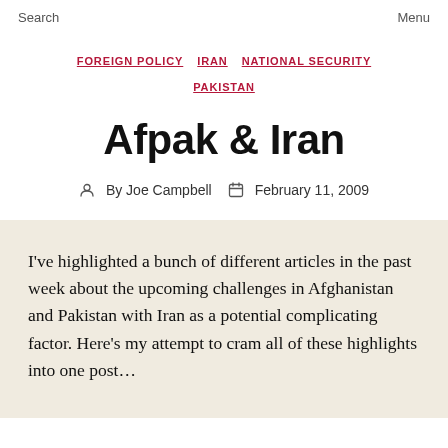Search    Menu
FOREIGN POLICY  IRAN  NATIONAL SECURITY  PAKISTAN
Afpak & Iran
By Joe Campbell    February 11, 2009
I've highlighted a bunch of different articles in the past week about the upcoming challenges in Afghanistan and Pakistan with Iran as a potential complicating factor. Here's my attempt to cram all of these highlights into one post…